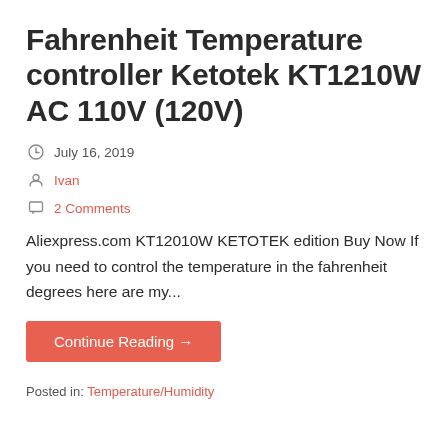Fahrenheit Temperature controller Ketotek KT1210W AC 110V (120V)
July 16, 2019
Ivan
2 Comments
Aliexpress.com KT12010W KETOTEK edition Buy Now If you need to control the temperature in the fahrenheit degrees here are my...
Continue Reading →
Posted in: Temperature/Humidity